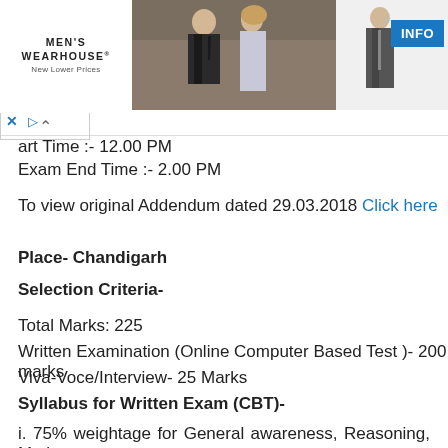[Figure (screenshot): Men's Wearhouse advertisement banner showing a couple in formal wear and a man in a suit, with an INFO button]
art Time :- 12.00 PM
Exam End Time :- 2.00 PM
To view original Addendum dated 29.03.2018 Click here
Place- Chandigarh
Selection Criteria-
Total Marks: 225
Written Examination (Online Computer Based Test )- 200 marks
Viva-Voce/Interview- 25 Marks
Syllabus for Written Exam (CBT)-
i.  75% weightage for General awareness, Reasoning, Maths,